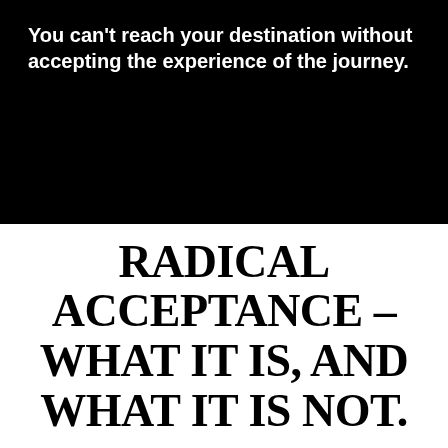You can't reach your destination without accepting the experience of the journey.
RADICAL ACCEPTANCE – WHAT IT IS, AND WHAT IT IS NOT.